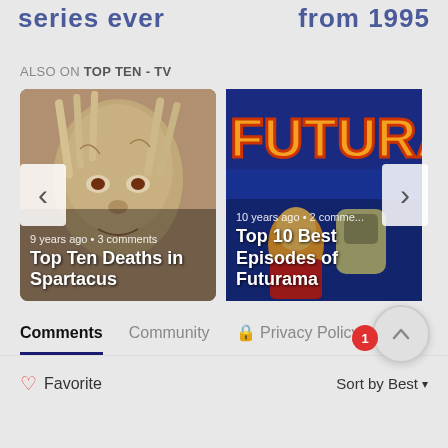series ever   from 1995
ALSO ON TOP TEN - TV
[Figure (photo): Carousel with two cards: Left card shows a zombie-like face with text '9 years ago • 3 comments / Top Ten Deaths in Spartacus'. Right card shows Futurama logo/characters with text '10 years ago • 2 comments / Top 10 Best Episodes of Futurama'. Left and right navigation arrows visible.]
Comments   Community   🔒 Privacy Policy
❤ Favorite
Sort by Best ▾